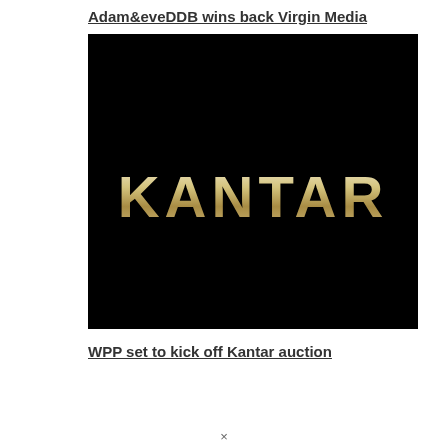Adam&eveDDB wins back Virgin Media
[Figure (logo): Kantar logo — white bold sans-serif text 'KANTAR' on a black background with a slight golden/cream gradient on the lettering]
WPP set to kick off Kantar auction